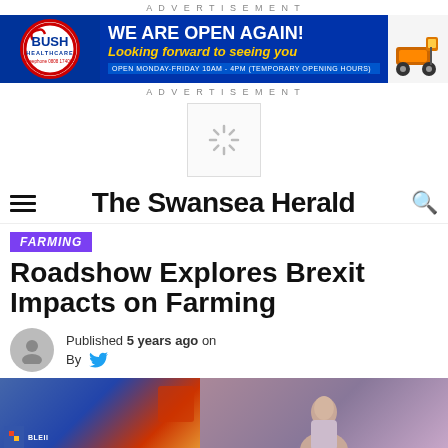ADVERTISEMENT
[Figure (infographic): Bush Healthcare advertisement banner: logo on blue background, 'WE ARE OPEN AGAIN! Looking forward to seeing you', OPEN MONDAY-FRIDAY 10AM - 4PM (TEMPORARY OPENING HOURS), mobility scooter image on right]
ADVERTISEMENT
[Figure (infographic): Loading spinner icon in a white box]
The Swansea Herald
FARMING
Roadshow Explores Brexit Impacts on Farming
Published 5 years ago on
By
[Figure (photo): Two-part image: left side shows a presentation screen with content, right side shows a person speaking at an event with purple background]